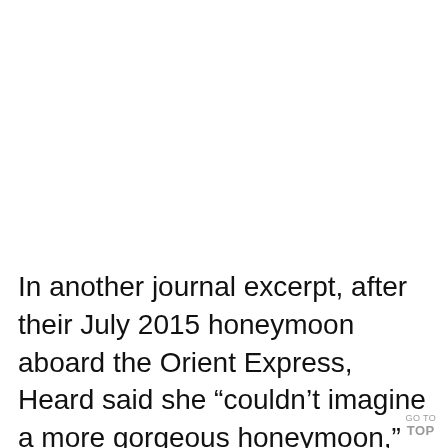In another journal excerpt, after their July 2015 honeymoon aboard the Orient Express, Heard said she “couldn’t imagine a more gorgeous honeymoon,” and added, “I love you more and more every passing day.”
GO TO TOP